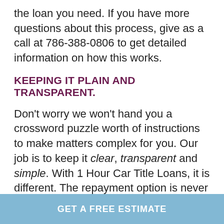the loan you need. If you have more questions about this process, give as a call at 786-388-0806 to get detailed information on how this works.
KEEPING IT PLAIN AND TRANSPARENT.
Don't worry we won't hand you a crossword puzzle worth of instructions to make matters complex for you. Our job is to keep it clear, transparent and simple. With 1 Hour Car Title Loans, it is different. The repayment option is never complex, there are no hidden clauses. You can pay off the amount of the loan and any interest just by
GET A FREE ESTIMATE